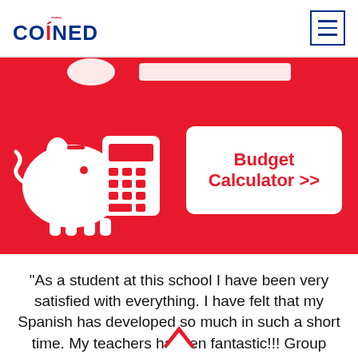COINED
[Figure (screenshot): COINED website screenshot showing a Budget Calculator banner with a piggy bank and calculator icon on a red background, and a white button labeled 'Budget Calculator >>']
"As a student at this school I have been very satisfied with everything. I have felt that my Spanish has developed so much in such a short time. My teachers have been fantastic!!! Group classes combined with individual classes are ideal